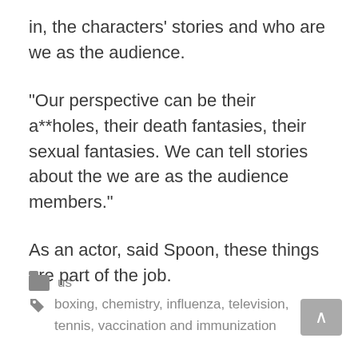in, the characters' stories and who are we as the audience.
“Our perspective can be their a**holes, their death fantasies, their sexual fantasies. We can tell stories about the we are as the audience members.”
As an actor, said Spoon, these things are part of the job.
us
boxing, chemistry, influenza, television,
tennis, vaccination and immunization